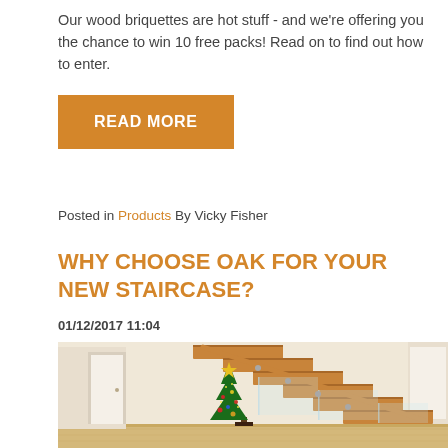Our wood briquettes are hot stuff - and we're offering you the chance to win 10 free packs! Read on to find out how to enter.
READ MORE
Posted in Products By Vicky Fisher
WHY CHOOSE OAK FOR YOUR NEW STAIRCASE?
01/12/2017 11:04
[Figure (photo): Interior photo of a modern home with a floating oak staircase with glass balustrade, and a decorated Christmas tree at the base in the foreground.]